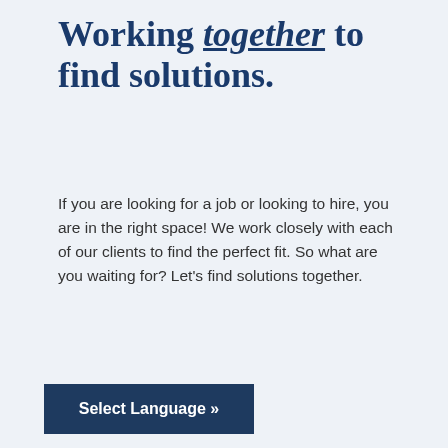Working together to find solutions.
If you are looking for a job or looking to hire, you are in the right space! We work closely with each of our clients to find the perfect fit. So what are you waiting for? Let's find solutions together.
Select Language »